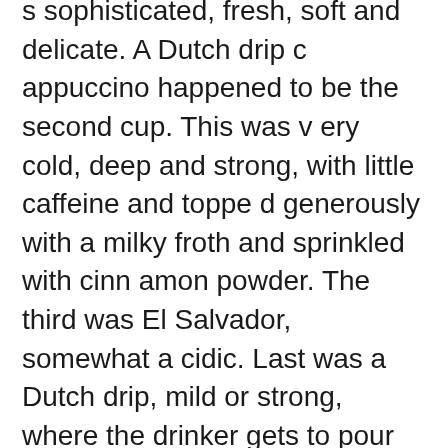s sophisticated, fresh, soft and delicate. A Dutch drip cappuccino happened to be the second cup. This was very cold, deep and strong, with little caffeine and topped generously with a milky froth and sprinkled with cinnamon powder. The third was El Salvador, somewhat acidic. Last was a Dutch drip, mild or strong, where the drinker gets to pour the desired amount of water to mix with the crude base. We tried both ways.
Sinbi's Love is a choose-your-own adventure of coffee.
Ice drip and Dutch drips run 6,000 and a special drip is listed at 7,000. But that's just how the menu reads. Of note, five basic tea choices are also available along with hot chocolate and ice chocolate. Coffee is the main reason to come.